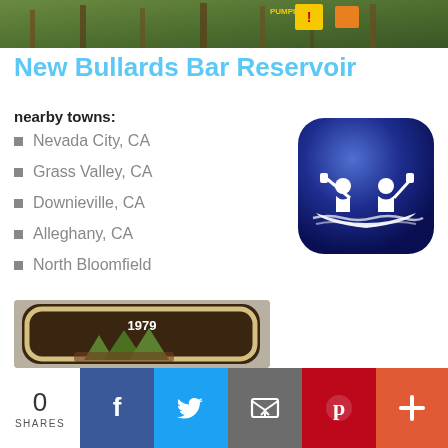[Figure (photo): Top photo strip showing trees and warning signs in forest]
New Bullards Bar Reservoir
nearby towns:
Nevada City, CA
Grass Valley, CA
Downieville, CA
Alleghany, CA
North Bloomfield
[Figure (illustration): App icon with dark blue rounded square background showing two people paddling a canoe on water]
[Figure (photo): Partial image of a 1979 patch or badge with dark brown background, cream/gold border, year 1979 text, and tree shapes]
0 SHARES
[Figure (infographic): Social share bar with Facebook, Twitter, email, Pinterest, and plus buttons]